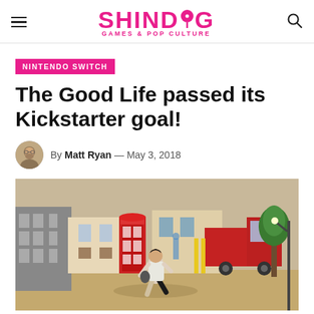SHINDIG GAMES & POP CULTURE
NINTENDO SWITCH
The Good Life passed its Kickstarter goal!
By Matt Ryan — May 3, 2018
[Figure (photo): Screenshot from The Good Life game showing a character running in a stylized English village street with a red phone box, buildings, and a red truck in the background.]